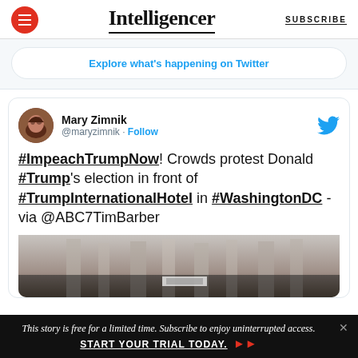Intelligencer | SUBSCRIBE
Explore what's happening on Twitter
[Figure (screenshot): Embedded tweet by Mary Zimnik (@maryzimnik) with Follow button and Twitter bird icon. Tweet text: #ImpeachTrumpNow! Crowds protest Donald #Trump's election in front of #TrumpInternationalHotel in #WashingtonDC - via @ABC7TimBarber. Below tweet is a partial photo of a building interior.]
This story is free for a limited time. Subscribe to enjoy uninterrupted access. START YOUR TRIAL TODAY.